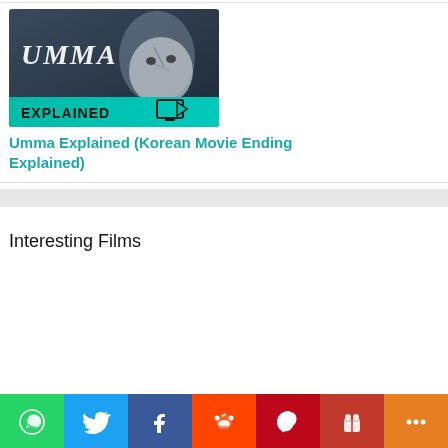[Figure (screenshot): Thumbnail for Umma Explained video — dark bluish background with text 'UMMA' in white handwritten font, a woman's face partially covered by a white mask, and a teal banner at the bottom with 'EXPLAINED' and a monitor icon]
Umma Explained (Korean Movie Ending Explained)
Interesting Films
[Figure (infographic): Social share bar with icons: WhatsApp (green), Twitter (blue), Facebook (dark blue), Reddit (orange-red), Pinterest (red), gift/friends (dark red), More/share (orange)]